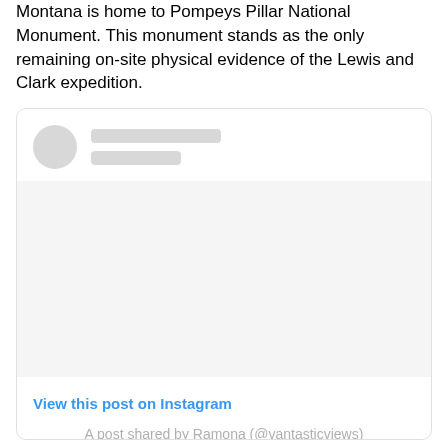Montana is home to Pompeys Pillar National Monument. This monument stands as the only remaining on-site physical evidence of the Lewis and Clark expedition.
[Figure (screenshot): An embedded Instagram post embed card with a blurred/placeholder avatar and name lines, a blank image area, a 'View this post on Instagram' link in blue, and a gray attribution line 'A post shared by Ramona (@vantasticviews)']